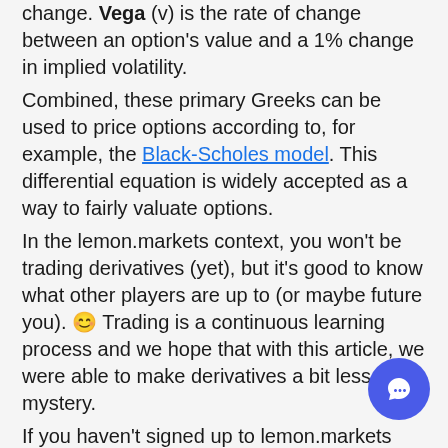change. Vega (v) is the rate of change between an option's value and a 1% change in implied volatility. Combined, these primary Greeks can be used to price options according to, for example, the Black-Scholes model. This differential equation is widely accepted as a way to fairly valuate options. In the lemon.markets context, you won't be trading derivatives (yet), but it's good to know what other players are up to (or maybe future you). 😊 Trading is a continuous learning process and we hope that with this article, we were able to make derivatives a bit less of a mystery. If you haven't signed up to lemon.markets yet, you can do that here. We'd be happy to have you on board. Any questions? Join our lack community.